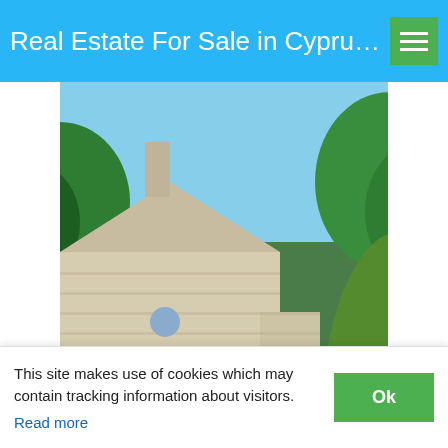Real Estate For Sale in Cypru…
[Figure (photo): An ancient stone chapel or small church building surrounded by lush green trees and vegetation, with a stone wall to the right. The building has a rustic light-colored stone facade with an arched doorway and a small chimney. A dirt path leads to the entrance.]
AN ENTIRE ANCIENT STONE VILLAGE - BORGO TASSINARE UMBRIA ITALY
€ 450,000
This site makes use of cookies which may contain tracking information about visitors.
Read more